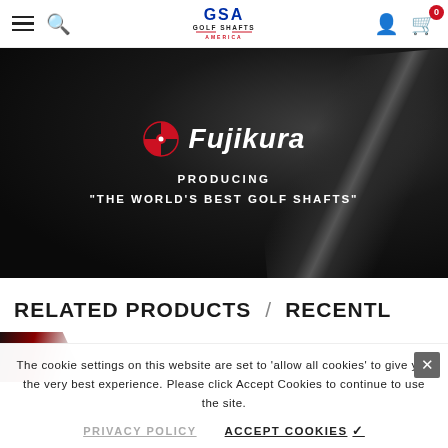GSA Golf Shafts America — navigation bar with hamburger menu, search, logo, user icon, cart (0)
[Figure (photo): Fujikura brand banner: dark background with stylized golf shaft imagery, Fujikura logo (red target icon + italic white text), tagline PRODUCING "THE WORLD'S BEST GOLF SHAFTS"]
RELATED PRODUCTS  /  RECENTLY
[Figure (photo): Partial product image visible at bottom — red and black diagonal shaft graphic]
The cookie settings on this website are set to 'allow all cookies' to give you the very best experience. Please click Accept Cookies to continue to use the site.
PRIVACY POLICY
ACCEPT COOKIES ✓